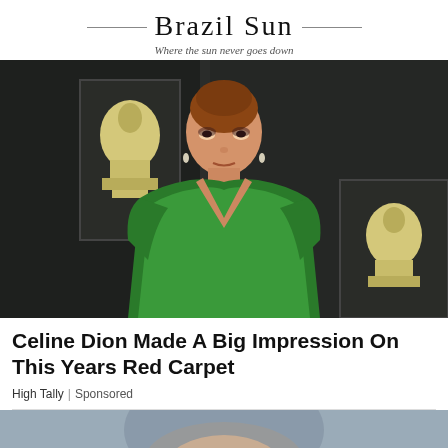Brazil Sun — Where the sun never goes down
[Figure (photo): Celine Dion wearing a sparkling deep-V green dress on the red carpet at the Grammy Awards, standing in front of a backdrop with Grammy award trophies]
Celine Dion Made A Big Impression On This Years Red Carpet
High Tally | Sponsored
[Figure (photo): Partial photo of a person's face/head, cropped at bottom of page]